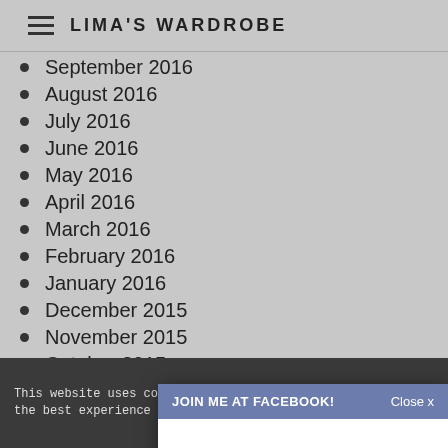LIMA'S WARDROBE
September 2016
August 2016
July 2016
June 2016
May 2016
April 2016
March 2016
February 2016
January 2016
December 2015
November 2015
October 2015
September 2015
August 2015
July 2015
June 2015
[Figure (screenshot): Modal popup with header 'JOIN ME AT FACEBOOK!' and close button 'Close x', body showing 'Or wait 118 Seconds.']
This website uses cookies to ensure you get the best experience on my website